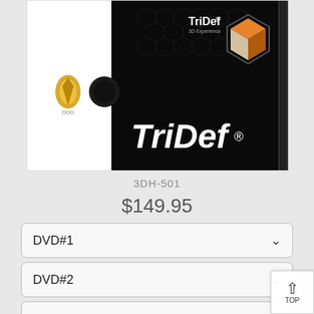[Figure (photo): Product image of TriDef 3D software box/disc showing the TriDef logo text and a geometric cube icon on a dark background, with a golden icon on white portion at left.]
3DH-501
$149.95
DVD#1
DVD#2
DVD#3
DVD#4
Extra Wireless 3D Glasses